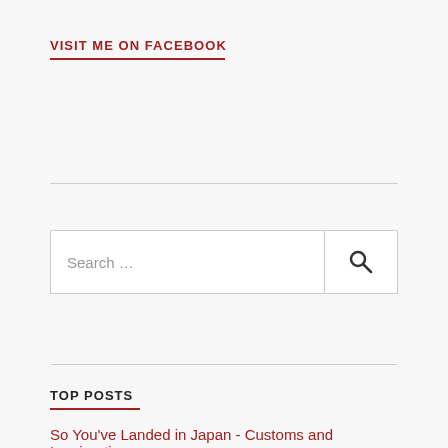VISIT ME ON FACEBOOK
TOP POSTS
So You've Landed in Japan - Customs and Immigration